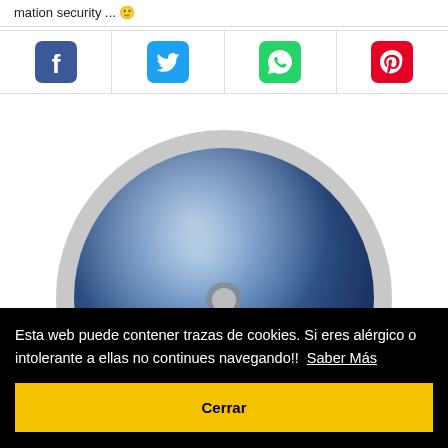mation security ... 😊
[Figure (infographic): Social sharing icons row: Facebook (blue), Twitter (light blue), WhatsApp (green), Pinterest (red)]
[Figure (illustration): Large blue shiny disc/CD-like circular object on grey/white background]
Esta web puede contener trazas de cookies. Si eres alérgico o intolerante a ellas no continues navegando!!  Saber Más
Cerrar